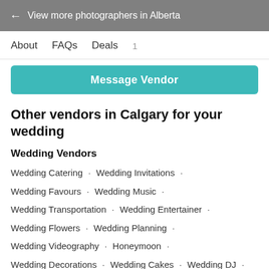← View more photographers in Alberta
About   FAQs   Deals 1
Message Vendor
Other vendors in Calgary for your wedding
Wedding Vendors
Wedding Catering · Wedding Invitations ·
Wedding Favours · Wedding Music ·
Wedding Transportation · Wedding Entertainer ·
Wedding Flowers · Wedding Planning ·
Wedding Videography · Honeymoon ·
Wedding Decorations · Wedding Cakes · Wedding DJ ·